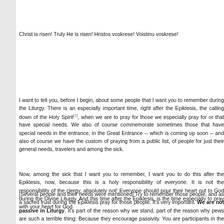Christ is risen! Truly He is risen! Hristos voskrese! Voistinu voskrese!
I want to tell you, before I begin, about some people that I want you to remember during the Liturgy. There is an especially important time, right after the Epiklesis, the calling down of the Holy Spirit[1], when we are to pray for those we especially pray for or that have special needs. We also of course commemorate sometimes those that have special needs in the entrance, in the Great Entrance -- which is coming up soon -- and also of course we have the custom of praying from a public list, of people for just their general needs, travelers and among the sick.
Now, among the sick that I want you to remember, I want you to do this after the Epiklesis, now, because this is a holy responsibility of everyone. It is not the responsibility of the clergy, absolutely not! Everyone should pour their heart out to God during the Divine Liturgy. And this time after the Epiklesis, is the time especially to pray with your heart for God.
[Several people and their needs were mentioned] Try to remember those people, and as a sacred trust during the Epiklesis pray for those people. It's very important. We are not passive in Liturgy. It's part of the reason why we stand, part of the reason why pews are such a terrible thing: Because they encourage passivity. You are participants in the Liturgy. The Liturgy means "the wo